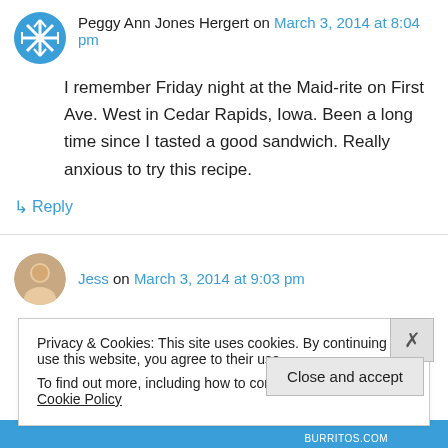Peggy Ann Jones Hergert on March 3, 2014 at 8:04 pm
I remember Friday night at the Maid-rite on First Ave. West in Cedar Rapids, Iowa. Been a long time since I tasted a good sandwich. Really anxious to try this recipe.
↳ Reply
Jess on March 3, 2014 at 9:03 pm
Privacy & Cookies: This site uses cookies. By continuing to use this website, you agree to their use.
To find out more, including how to control cookies, see here: Cookie Policy
Close and accept